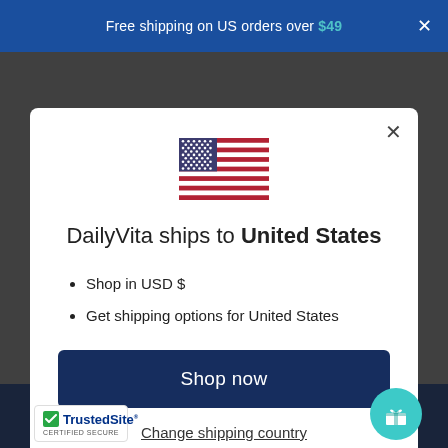Free shipping on US orders over $49
[Figure (illustration): US flag emoji/icon centered in modal]
DailyVita ships to United States
Shop in USD $
Get shipping options for United States
Shop now
Change shipping country
Buy it now
[Figure (logo): TrustedSite Certified Secure badge]